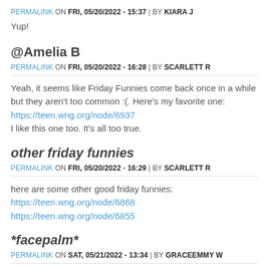PERMALINK ON FRI, 05/20/2022 - 15:37 | BY KIARA J
Yup!
@Amelia B
PERMALINK ON FRI, 05/20/2022 - 16:28 | BY SCARLETT R
Yeah, it seems like Friday Funnies come back once in a while but they aren't too common :(. Here's my favorite one:
https://teen.wng.org/node/6937
I like this one too. It's all too true.
other friday funnies
PERMALINK ON FRI, 05/20/2022 - 16:29 | BY SCARLETT R
here are some other good friday funnies:
https://teen.wng.org/node/6868
https://teen.wng.org/node/6855
*facepalm*
PERMALINK ON SAT, 05/21/2022 - 13:34 | BY GRACEEMMY W
*facepalm*